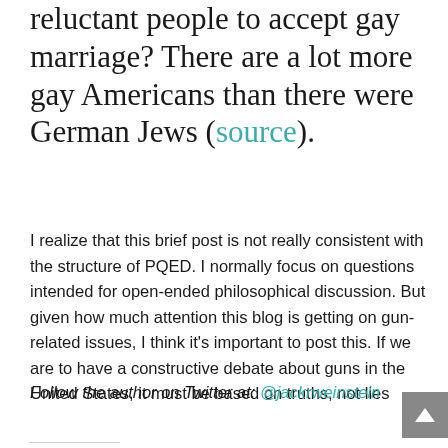reluctant people to accept gay marriage? There are a lot more gay Americans than there were German Jews (source).
I realize that this brief post is not really consistent with the structure of PQED. I normally focus on questions intended for open-ended philosophical discussion. But given how much attention this blog is getting on gun-related issues, I think it's important to post this. If we are to have a constructive debate about guns in the United States, it must be based on truths, not lies
Follow the author on Twitter at: @jackrweinstein